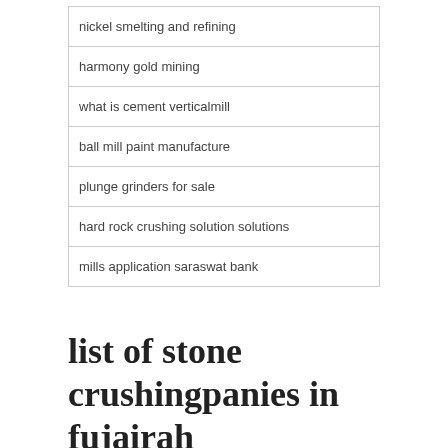nickel smelting and refining
harmony gold mining
what is cement verticalmill
ball mill paint manufacture
plunge grinders for sale
hard rock crushing solution solutions
mills application saraswat bank
list of stone crushingpanies in fujairah